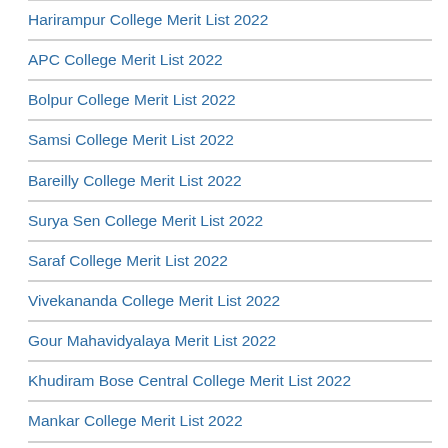Harirampur College Merit List 2022
APC College Merit List 2022
Bolpur College Merit List 2022
Samsi College Merit List 2022
Bareilly College Merit List 2022
Surya Sen College Merit List 2022
Saraf College Merit List 2022
Vivekananda College Merit List 2022
Gour Mahavidyalaya Merit List 2022
Khudiram Bose Central College Merit List 2022
Mankar College Merit List 2022
Sammilani College Merit List 2022
Balurghat College Merit List 2022
Dungar College Bikaner Merit List 2022
Taki Government College Merit List 2022